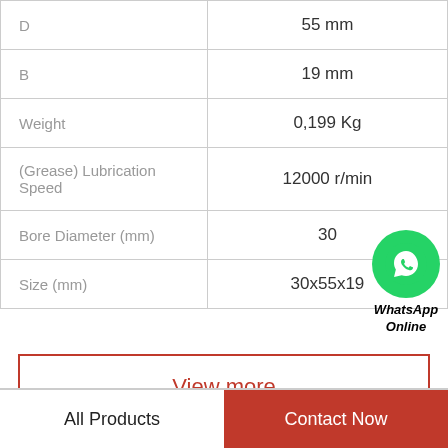| Property | Value |
| --- | --- |
| D | 55 mm |
| B | 19 mm |
| Weight | 0,199 Kg |
| (Grease) Lubrication Speed | 12000 r/min |
| Bore Diameter (mm) | 30 |
| Size (mm) | 30x55x19 |
[Figure (logo): WhatsApp Online green circle icon with phone handset, labeled WhatsApp Online in bold italic]
View more
All Products    Contact Now